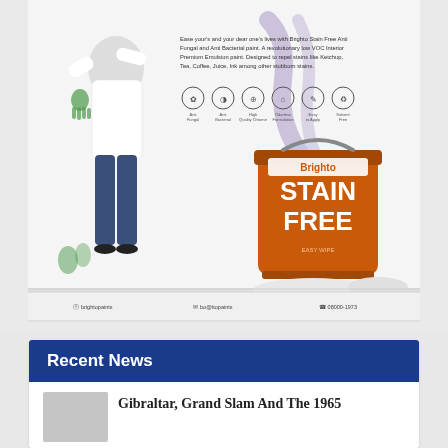[Figure (photo): Brighto Stain Free Anti Fungal and Anti Bacterial paint advertisement. Shows a child with paint-covered hands pressed against a white wall, with handprints in green and purple. Features text: 'Ease your's and your dear one's lives with Brighto Stain Free Anti Fungal and Anti Bacterial paint. A revolutionary low VOC Interior Premium Emulsion paint. Designed to repel stains like Ketchup, Tea, Coffee, Juice, Ink among other stubborn stains.' Six feature icons below the text. A large orange paint bucket labeled 'Brighto STAIN FREE' on the right. Footer shows social media handles: brightоpaints, bo@ttopaints, 08000-1973.]
Recent News
Gibraltar, Grand Slam And The 1965